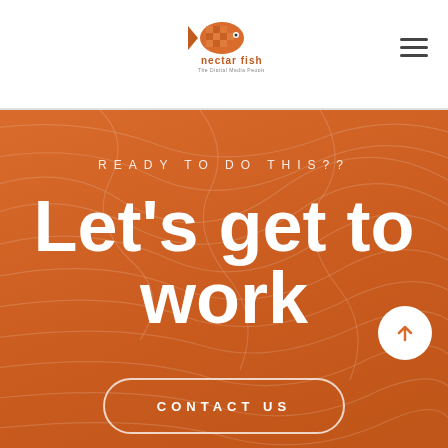[Figure (logo): Nectar Fish logo — orange mosaic fish icon above the text 'nectar fish' with tagline 'The Digital Media People']
READY TO DO THIS??
Let's get to work
CONTACT US